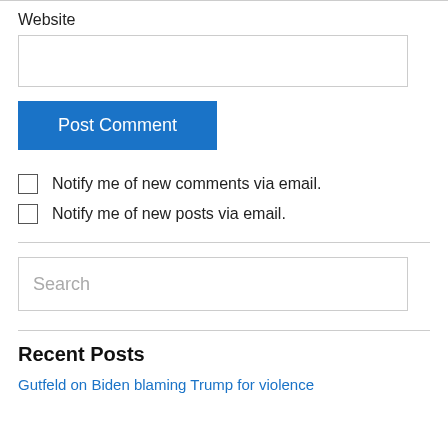Website
Post Comment
Notify me of new comments via email.
Notify me of new posts via email.
Search
Recent Posts
Gutfeld on Biden blaming Trump for violence